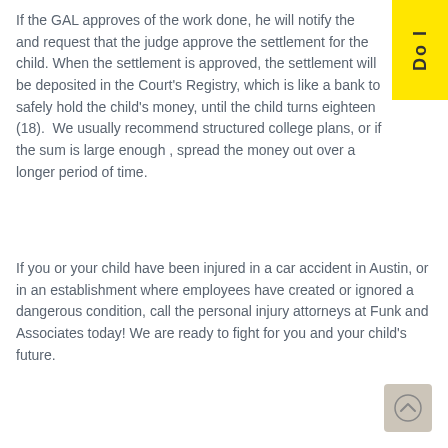If the GAL approves of the work done, he will notify the and request that the judge approve the settlement for the child. When the settlement is approved, the settlement will be deposited in the Court's Registry, which is like a bank to safely hold the child's money, until the child turns eighteen (18). We usually recommend structured college plans, or if the sum is large enough , spread the money out over a longer period of time.
If you or your child have been injured in a car accident in Austin, or in an establishment where employees have created or ignored a dangerous condition, call the personal injury attorneys at Funk and Associates today! We are ready to fight for you and your child's future.